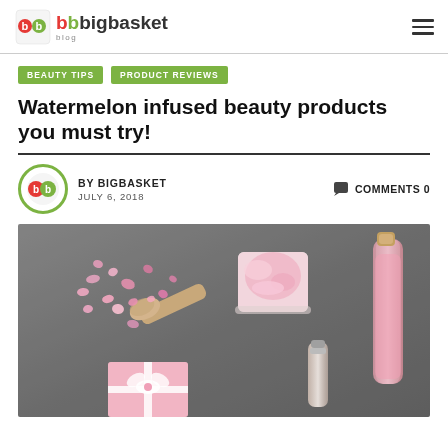bigbasket blog
BEAUTY TIPS   PRODUCT REVIEWS
Watermelon infused beauty products you must try!
BY BIGBASKET   JULY 6, 2018   COMMENTS 0
[Figure (photo): Flat lay of pink beauty products on dark grey background: pink bath salts with wooden scoop, pink cream in square bowl, glass bottle with cork, small bottle, and pink gift box with ribbon]